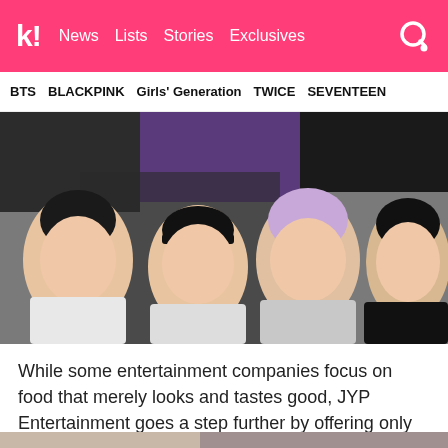k! News Lists Stories Exclusives
BTS   BLACKPINK   Girls' Generation   TWICE   SEVENTEEN
[Figure (photo): Four young male K-pop artists posing together making peace signs, wearing stylish outfits in black and white]
While some entertainment companies focus on food that merely looks and tastes good, JYP Entertainment goes a step further by offering only organic food that's healthy for the body.
[Figure (photo): Partial bottom image, partially visible]